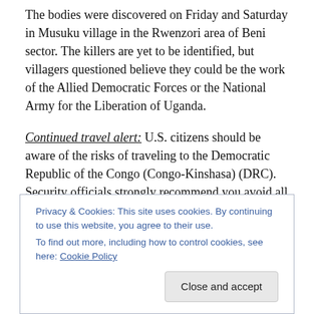The bodies were discovered on Friday and Saturday in Musuku village in the Rwenzori area of Beni sector. The killers are yet to be identified, but villagers questioned believe they could be the work of the Allied Democratic Forces or the National Army for the Liberation of Uganda.
Continued travel alert: U.S. citizens should be aware of the risks of traveling to the Democratic Republic of the Congo (Congo-Kinshasa) (DRC). Security officials strongly recommend you avoid all travel to the city of Goma and the province of North Kivu, and all but essential travel to
Privacy & Cookies: This site uses cookies. By continuing to use this website, you agree to their use.
To find out more, including how to control cookies, see here: Cookie Policy